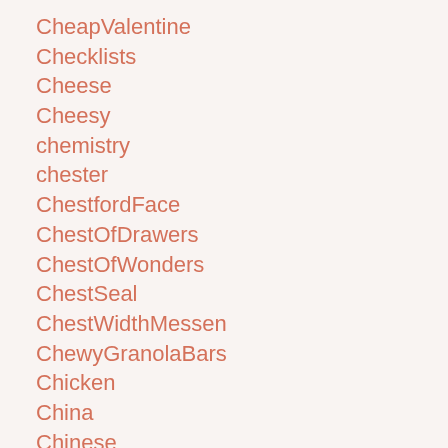CheapValentine
Checklists
Cheese
Cheesy
chemistry
chester
ChestfordFace
ChestOfDrawers
ChestOfWonders
ChestSeal
ChestWidthMessen
ChewyGranolaBars
Chicken
China
Chinese